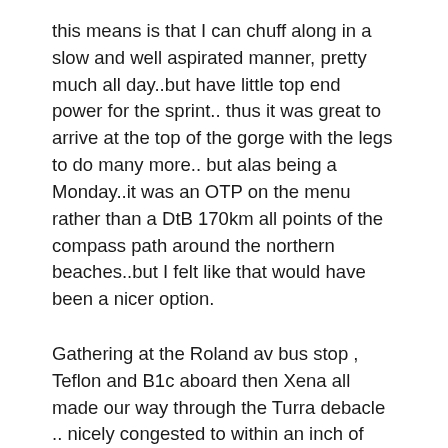this means is that I can chuff along in a slow and well aspirated manner, pretty much all day..but have little top end power for the sprint.. thus it was great to arrive at the top of the gorge with the legs to do many more.. but alas being a Monday..it was an OTP on the menu rather than a DtB 170km all points of the compass path around the northern beaches..but I felt like that would have been a nicer option.
Gathering at the Roland av bus stop , Teflon and B1c aboard then Xena all made our way through the Turra debacle .. nicely congested to within an inch of gridlock. Then through to the Gordon rendezvous, where 25 more ERs had grouped for the second best way. A cohort of Sydney's finest rolled out on time, and were blessed by minimal traffic and gentle tail winds to assist along that well worn trail. Pink Stratos took off early to give the peloton a little something to chase, and was caught before the Rohiti sprint. The regroup on Hill St bringing now 30 ERs to heel, made a nice meal for the Archer st shredder to digest.. and a well parked car just short